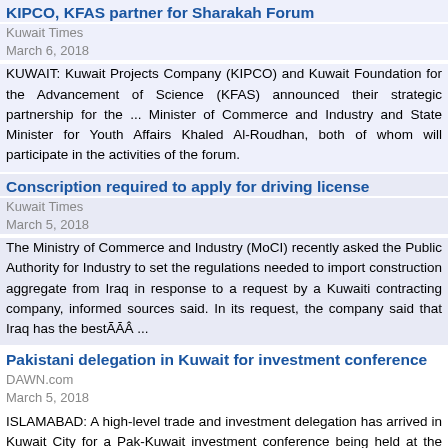KIPCO, KFAS partner for Sharakah Forum
Kuwait Times
March 6, 2018
KUWAIT: Kuwait Projects Company (KIPCO) and Kuwait Foundation for the Advancement of Science (KFAS) announced their strategic partnership for the ... Minister of Commerce and Industry and State Minister for Youth Affairs Khaled Al-Roudhan, both of whom will participate in the activities of the forum.
Conscription required to apply for driving license
Kuwait Times
March 5, 2018
The Ministry of Commerce and Industry (MoCI) recently asked the Public Authority for Industry to set the regulations needed to import construction aggregate from Iraq in response to a request by a Kuwaiti contracting company, informed sources said. In its request, the company said that Iraq has the bestÃĀÂ ...
Pakistani delegation in Kuwait for investment conference
DAWN.com
March 5, 2018
ISLAMABAD: A high-level trade and investment delegation has arrived in Kuwait City for a Pak-Kuwait investment conference being held at the Kuwait chamber of commerce and industry on Monday. T navigation headed by Board of Investment (BoI) chairman Naeem Zamindar is visiting Kuwait on enÃĀÂ